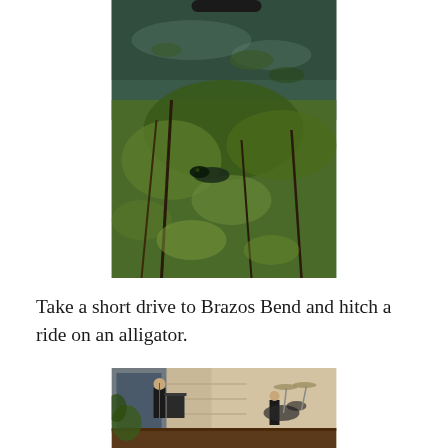[Figure (photo): A photograph of an alligator partially hidden among aquatic vegetation in a swampy area at Brazos Bend. The scene shows murky greenish water, lily pads, and dense green plants. The alligator's head is visible amid the foliage.]
Take a short drive to Brazos Bend and hitch a ride on an alligator.
[Figure (photo): A photograph of two musicians performing on an outdoor stage. One person stands near an instrument on the left, and another sits behind a drum kit on the right. The background shows a stone or brick wall and a wooden deck stage floor.]